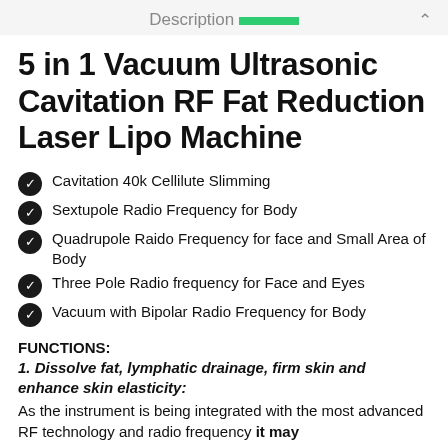Description
5 in 1 Vacuum Ultrasonic Cavitation RF Fat Reduction Laser Lipo Machine
Cavitation 40k Cellilute Slimming
Sextupole Radio Frequency for Body
Quadrupole Raido Frequency for face and Small Area of Body
Three Pole Radio frequency for Face and Eyes
Vacuum with Bipolar Radio Frequency for Body
FUNCTIONS:
1. Dissolve fat, lymphatic drainage, firm skin and enhance skin elasticity:
As the instrument is being integrated with the most advanced RF technology and radio frequency it may